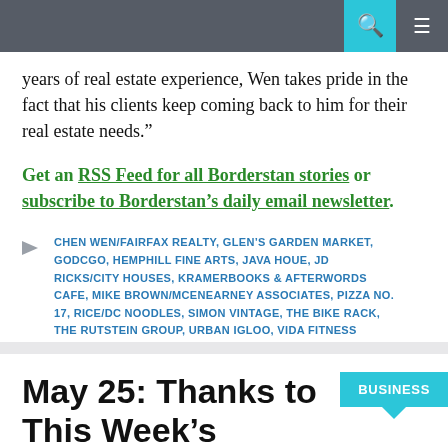years of real estate experience, Wen takes pride in the fact that his clients keep coming back to him for their real estate needs.”
Get an RSS Feed for all Borderstan stories or subscribe to Borderstan’s daily email newsletter.
CHEN WEN/FAIRFAX REALTY, GLEN’S GARDEN MARKET, GODCGO, HEMPHILL FINE ARTS, JAVA HOUE, JD RICKS/CITY HOUSES, KRAMERBOOKS & AFTERWORDS CAFE, MIKE BROWN/MCENEARNEY ASSOCIATES, PIZZA NO. 17, RICE/DC NOODLES, SIMON VINTAGE, THE BIKE RACK, THE RUTSTEIN GROUP, URBAN IGLOO, VIDA FITNESS
May 25: Thanks to This Week’s Borderstan
BUSINESS